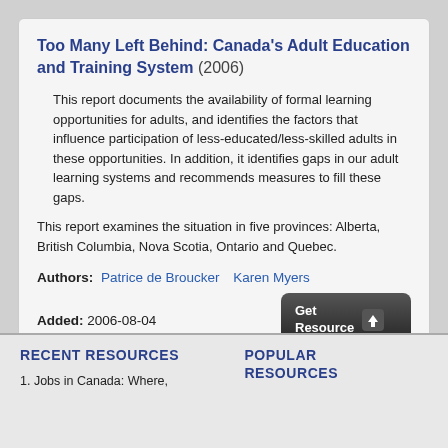Too Many Left Behind: Canada's Adult Education and Training System (2006)
This report documents the availability of formal learning opportunities for adults, and identifies the factors that influence participation of less-educated/less-skilled adults in these opportunities. In addition, it identifies gaps in our adult learning systems and recommends measures to fill these gaps.
This report examines the situation in five provinces: Alberta, British Columbia, Nova Scotia, Ontario and Quebec.
Authors: Patrice de Broucker    Karen Myers
Added: 2006-08-04
Complete record details
RECENT RESOURCES
POPULAR RESOURCES
1. Jobs in Canada: Where,